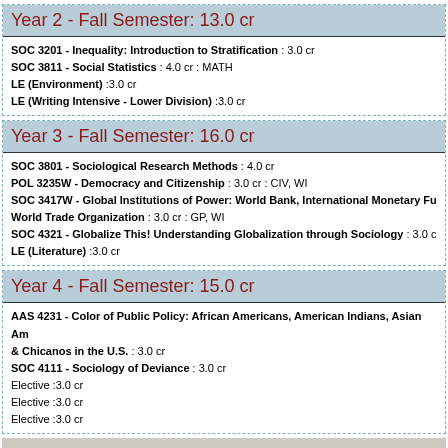Year 2 - Fall Semester: 13.0 cr
SOC 3201 - Inequality: Introduction to Stratification : 3.0 cr
SOC 3811 - Social Statistics : 4.0 cr : MATH
LE (Environment) :3.0 cr
LE (Writing Intensive - Lower Division) :3.0 cr
Year 3 - Fall Semester: 16.0 cr
SOC 3801 - Sociological Research Methods : 4.0 cr
POL 3235W - Democracy and Citizenship : 3.0 cr : CIV, WI
SOC 3417W - Global Institutions of Power: World Bank, International Monetary Fu World Trade Organization : 3.0 cr : GP, WI
SOC 4321 - Globalize This! Understanding Globalization through Sociology : 3.0 c
LE (Literature) :3.0 cr
Year 4 - Fall Semester: 15.0 cr
AAS 4231 - Color of Public Policy: African Americans, American Indians, Asian Am & Chicanos in the U.S. : 3.0 cr
SOC 4111 - Sociology of Deviance : 3.0 cr
Elective :3.0 cr
Elective :3.0 cr
Elective :3.0 cr
© 2022 Regents of the University of Minnesota. All rights reserved. The University of Minnesota is an equal opportunity educator and employer Information current as of August 21, 2022